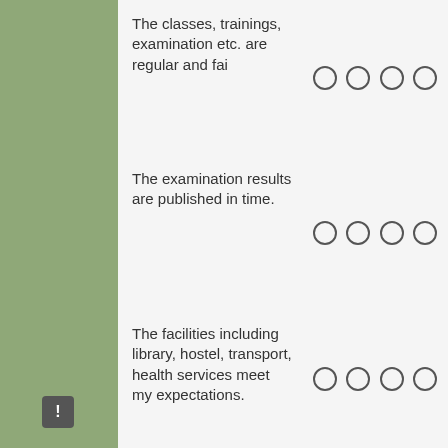The classes, trainings, examination etc. are regular and fai
The examination results are published in time.
The facilities including library, hostel, transport, health services meet my expectations.